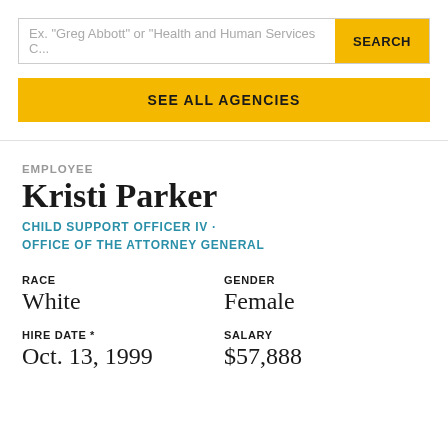Ex. "Greg Abbott" or "Health and Human Services C...
SEARCH
SEE ALL AGENCIES
EMPLOYEE
Kristi Parker
CHILD SUPPORT OFFICER IV · OFFICE OF THE ATTORNEY GENERAL
| RACE | GENDER | HIRE DATE * | SALARY |
| --- | --- | --- | --- |
| White | Female | Oct. 13, 1999 | $57,888 |